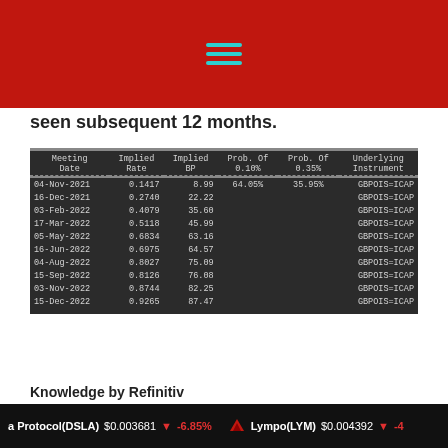[Figure (other): Red header bar with teal hamburger menu icon (three horizontal lines)]
seen subsequent 12 months.
| Meeting Date | Implied Rate | Implied BP | Prob. Of 0.10% | Prob. Of 0.35% | Underlying Instrument |
| --- | --- | --- | --- | --- | --- |
| 04-Nov-2021 | 0.1417 | 8.99 | 64.05% | 35.95% | GBPOIS=ICAP |
| 16-Dec-2021 | 0.2740 | 22.22 |  |  | GBPOIS=ICAP |
| 03-Feb-2022 | 0.4079 | 35.60 |  |  | GBPOIS=ICAP |
| 17-Mar-2022 | 0.5118 | 45.99 |  |  | GBPOIS=ICAP |
| 05-May-2022 | 0.6834 | 63.16 |  |  | GBPOIS=ICAP |
| 16-Jun-2022 | 0.6975 | 64.57 |  |  | GBPOIS=ICAP |
| 04-Aug-2022 | 0.8027 | 75.09 |  |  | GBPOIS=ICAP |
| 15-Sep-2022 | 0.8126 | 76.08 |  |  | GBPOIS=ICAP |
| 03-Nov-2022 | 0.8744 | 82.25 |  |  | GBPOIS=ICAP |
| 15-Dec-2022 | 0.9265 | 87.47 |  |  | GBPOIS=ICAP |
Knowledge by Refinitiv
a Protocol(DSLA) $0.003681 | -6.85% Lympo(LYM) $0.004392 | -4...